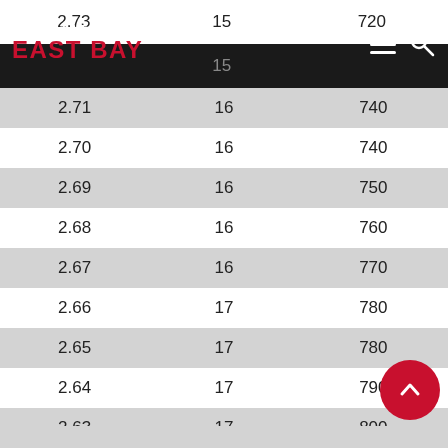Cal State East Bay — navigation header with logo, hamburger menu, and search icon
| GPA | Units | Score |
| --- | --- | --- |
| 2.73 | 15 | 720 |
| 2.71 | 16 | 740 |
| 2.70 | 16 | 740 |
| 2.69 | 16 | 750 |
| 2.68 | 16 | 760 |
| 2.67 | 16 | 770 |
| 2.66 | 17 | 780 |
| 2.65 | 17 | 780 |
| 2.64 | 17 | 790 |
| 2.63 | 17 | 800 |